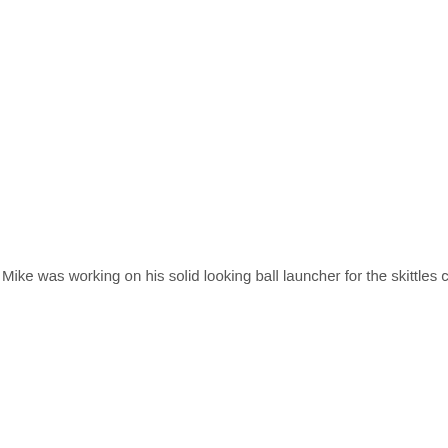Mike was working on his solid looking ball launcher for the skittles challenge: